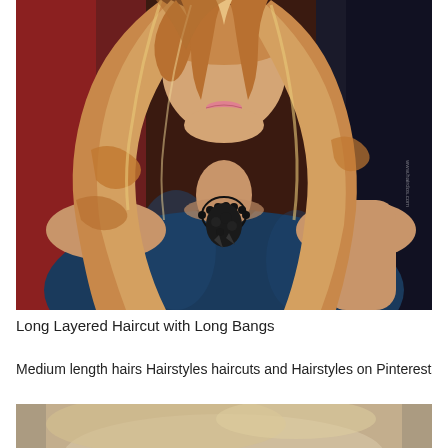[Figure (photo): Portrait photo of a woman with long, wavy, layered blonde/strawberry blonde hair wearing a dark blue satin sleeveless top and a black beaded necklace, posed against a dark red background. Watermark visible on right side.]
Long Layered Haircut with Long Bangs
Medium length hairs Hairstyles haircuts and Hairstyles on Pinterest
[Figure (photo): Partial photo at bottom showing the top of another hairstyle image, appearing to show a person with lighter colored hair.]